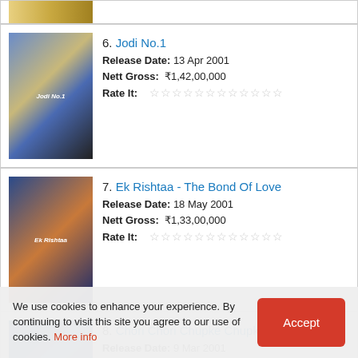[Figure (photo): Partial movie poster for Lagaan (cropped)]
6. Jodi No.1 — Release Date: 13 Apr 2001, Nett Gross: ₹1,42,00,000
7. Ek Rishtaa - The Bond Of Love — Release Date: 18 May 2001, Nett Gross: ₹1,33,00,000
8. Chori Chori Chupke Chupke — Release Date: 9 Mar 2001, Nett Gross: ₹1,32,00,000
9. Lajja (partial)
We use cookies to enhance your experience. By continuing to visit this site you agree to our use of cookies. More info